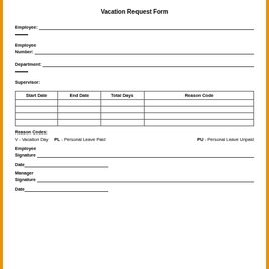Vacation Request Form
Employee:
Employee Number:
Department:
Supervisor:
| Start Date | End Date | Total Days | Reason Code |
| --- | --- | --- | --- |
|  |  |  |  |
|  |  |  |  |
|  |  |  |  |
|  |  |  |  |
Reason Codes:
V - Vacation Day    PL - Personal Leave Paid    PU - Personal Leave Unpaid
Employee Signature
Date
Manager Signature
Date